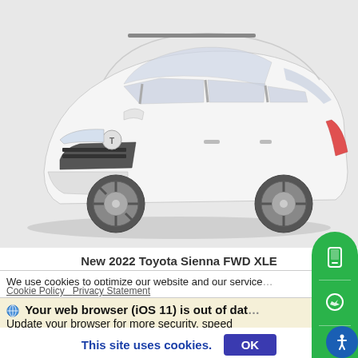[Figure (photo): White 2022 Toyota Sienna FWD XLE minivan, front three-quarter view, on gray background]
New 2022 Toyota Sienna FWD XLE
We use cookies to optimize our website and our service
Cookie Policy   Privacy Statement
🌐 Your web browser (iOS 11) is out of date Update your browser for more security, speed
This site uses cookies.  OK